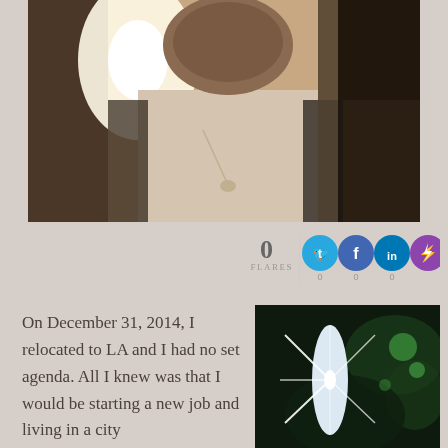[Figure (photo): Person smiling at an event, wearing a cream top and dark jacket with a necklace, bright light in background]
0 FLARES
[Figure (illustration): Social media share buttons: Twitter, Facebook, LinkedIn, and a lightning/Flare button, each showing 0]
On December 31, 2014, I relocated to LA and I had no set agenda. All I knew was that I would be starting a new job and living in a city
[Figure (photo): Dark night scene with bright starburst light and green foliage/lights in background]